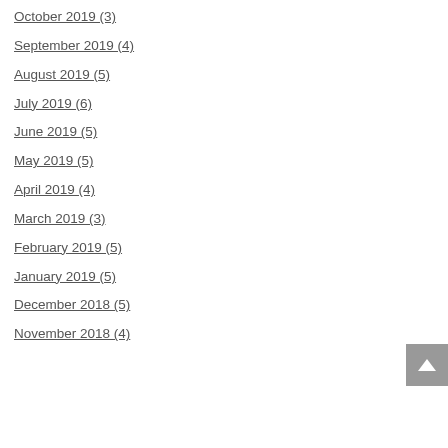October 2019 (3)
September 2019 (4)
August 2019 (5)
July 2019 (6)
June 2019 (5)
May 2019 (5)
April 2019 (4)
March 2019 (3)
February 2019 (5)
January 2019 (5)
December 2018 (5)
November 2018 (4)